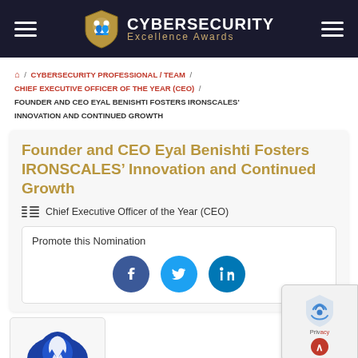CYBERSECURITY Excellence Awards
/ CYBERSECURITY PROFESSIONAL / TEAM / CHIEF EXECUTIVE OFFICER OF THE YEAR (CEO) / FOUNDER AND CEO EYAL BENISHTI FOSTERS IRONSCALES' INNOVATION AND CONTINUED GROWTH
Founder and CEO Eyal Benishti Fosters IRONSCALES’ Innovation and Continued Growth
Chief Executive Officer of the Year (CEO)
Promote this Nomination
[Figure (logo): IRONSCALES blue logo mark (partial, shield/dragon shape)]